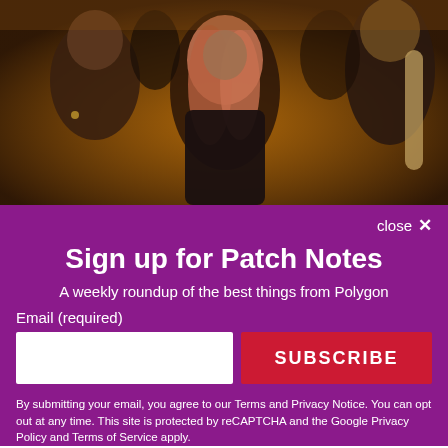[Figure (photo): Dark moody scene with three people: a young man on the left, a woman with long reddish-pink hair in the center wearing a black leather jacket, and a woman with braided blonde hair on the right, all in dim warm lighting]
close ✕
Sign up for Patch Notes
A weekly roundup of the best things from Polygon
Email (required)
SUBSCRIBE
By submitting your email, you agree to our Terms and Privacy Notice. You can opt out at any time. This site is protected by reCAPTCHA and the Google Privacy Policy and Terms of Service apply.